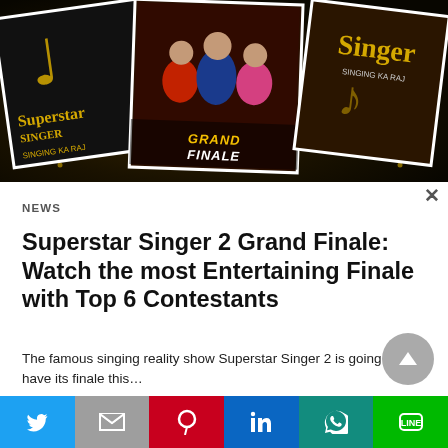[Figure (photo): Superstar Singer 2 Grand Finale promotional banner showing show logo cards and contestants photo on dark starry background]
NEWS
Superstar Singer 2 Grand Finale: Watch the most Entertaining Finale with Top 6 Contestants
The famous singing reality show Superstar Singer 2 is going to have its finale this…
3 days ago